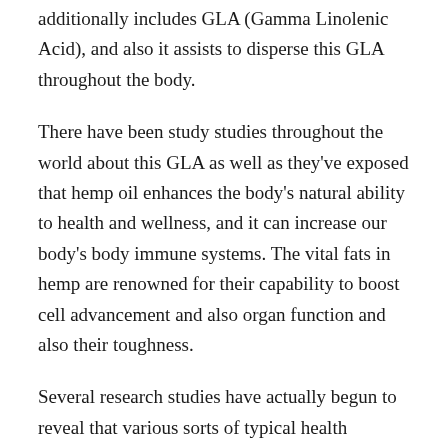additionally includes GLA (Gamma Linolenic Acid), and also it assists to disperse this GLA throughout the body.
There have been study studies throughout the world about this GLA as well as they've exposed that hemp oil enhances the body's natural ability to health and wellness, and it can increase our body's body immune systems. The vital fats in hemp are renowned for their capability to boost cell advancement and also organ function and also their toughness.
Several research studies have actually begun to reveal that various sorts of typical health problems (such as dermatitis, arthritis, and many other problems) associate with scarcities or discrepancies of specific fats, as well as in specific, Omega 3, 6 & 9.